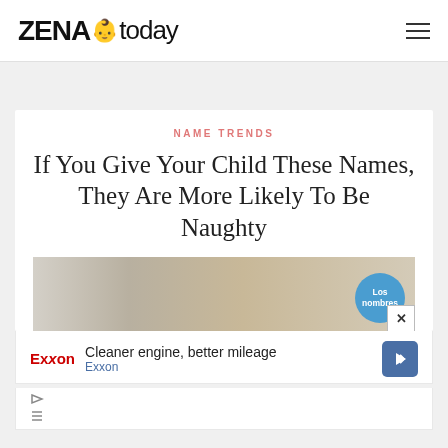ZENA today
NAME TRENDS
If You Give Your Child These Names, They Are More Likely To Be Naughty
[Figure (photo): Photo of a child with a circular blue badge reading 'Los nombres']
[Figure (infographic): Advertisement: Exxon - Cleaner engine, better mileage]